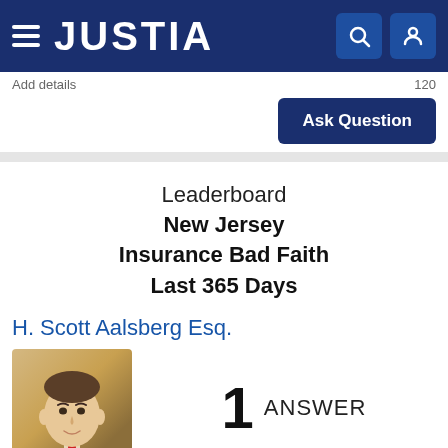JUSTIA
Add details	120
Ask Question
Leaderboard
New Jersey
Insurance Bad Faith
Last 365 Days
H. Scott Aalsberg Esq.
[Figure (photo): Headshot photo of H. Scott Aalsberg Esq., a man in a dark suit with a red tie]
1 ANSWER
VIEW MORE